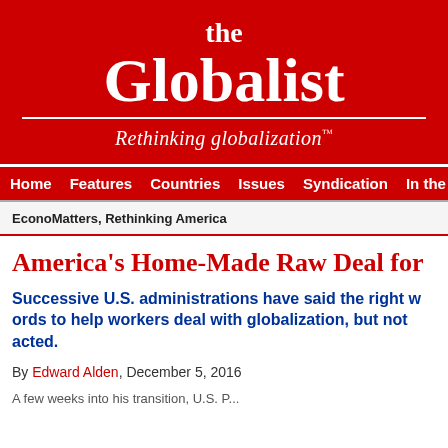[Figure (logo): The Globalist logo — red background with white text reading 'the Globalist' and tagline 'Rethinking globalization™']
Home  Features  Countries  Issues  Syndication  In the
EconoMatters, Rethinking America
America's Home-Made Raw Deal for
Successive U.S. administrations have said the right words to help workers deal with globalization, but not acted.
By Edward Alden, December 5, 2016
A few weeks into his transition, U.S. P...